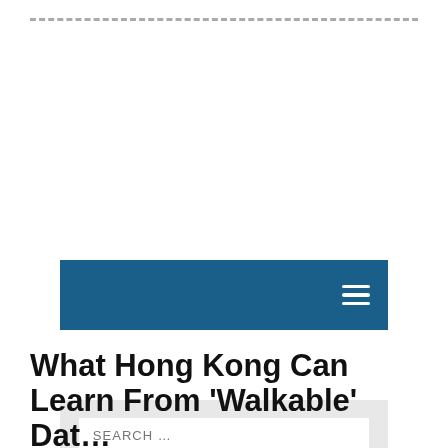--- -- ---- ----
[Figure (screenshot): Blue navigation bar with hamburger menu icon on the right]
[Figure (screenshot): Search bar with placeholder text 'SEARCH ...' on grey background]
HOME   CIVIC EXCHANGE
What Hong Kong Can Learn From ‘Walkable’ Dat...